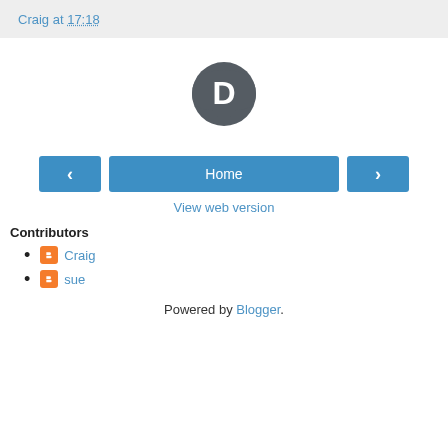Craig at 17:18
[Figure (logo): Disqus logo - dark grey speech bubble with white letter D]
[Figure (other): Navigation row with left arrow button, Home button, and right arrow button]
View web version
Contributors
Craig
sue
Powered by Blogger.